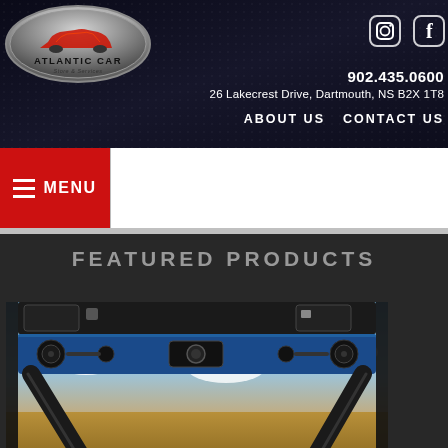[Figure (logo): Atlantic Car logo — oval silver badge with red car silhouette and text ATLANTIC CAR]
[Figure (infographic): Social media icons: Instagram camera icon and Facebook 'f' icon, white on dark background, top right of header]
902.435.0600
26 Lakecrest Drive, Dartmouth, NS B2X 1T8
ABOUT US   CONTACT US
≡ MENU
FEATURED PRODUCTS
[Figure (photo): Close-up photo of a UTV/side-by-side vehicle showing a blue sound bar with speakers mounted on the roll cage, with desert landscape and clouds visible in the background]